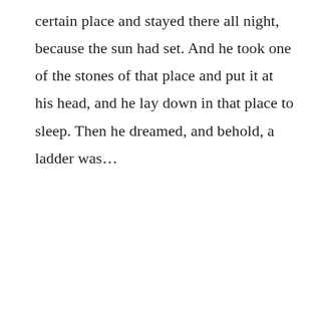certain place and stayed there all night, because the sun had set. And he took one of the stones of that place and put it at his head, and he lay down in that place to sleep. Then he dreamed, and behold, a ladder was…
READ MORE
July 8, 2008 By Cathy